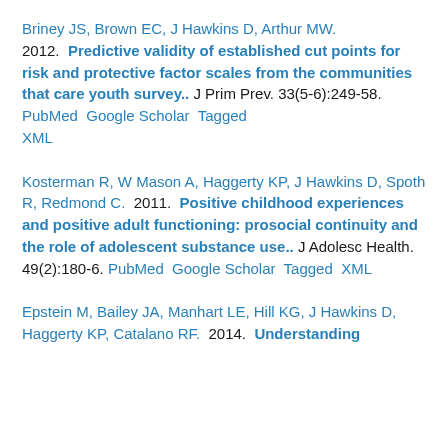Briney JS, Brown EC, J Hawkins D, Arthur MW. 2012. Predictive validity of established cut points for risk and protective factor scales from the communities that care youth survey.. J Prim Prev. 33(5-6):249-58. PubMed Google Scholar Tagged XML
Kosterman R, W Mason A, Haggerty KP, J Hawkins D, Spoth R, Redmond C. 2011. Positive childhood experiences and positive adult functioning: prosocial continuity and the role of adolescent substance use.. J Adolesc Health. 49(2):180-6. PubMed Google Scholar Tagged XML
Epstein M, Bailey JA, Manhart LE, Hill KG, J Hawkins D, Haggerty KP, Catalano RF. 2014. Understanding